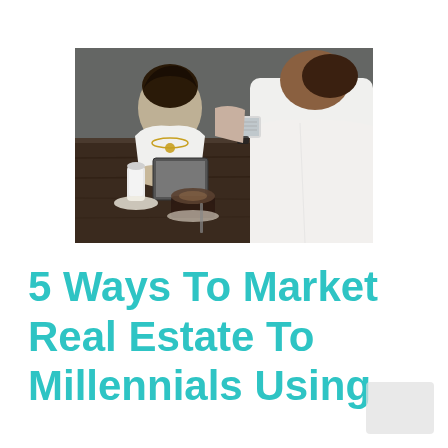[Figure (photo): Two people sitting at a wooden cafe table. A woman in a white top with a gold necklace is using a tablet. A man in a white shirt has his back to the camera and is holding a smartphone. There is a coffee drink and a sugar dispenser on the table.]
5 Ways To Market Real Estate To Millennials Using